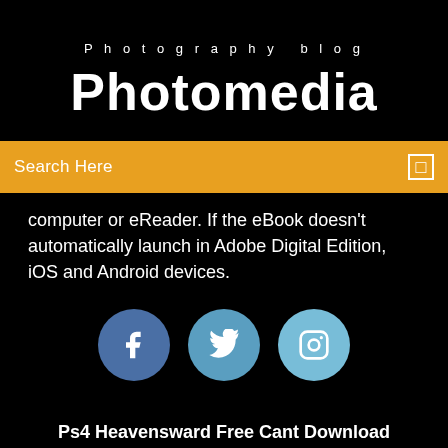Photography blog
Photomedia
Search Here
computer or eReader. If the eBook doesn't automatically launch in Adobe Digital Edition, iOS and Android devices.
[Figure (illustration): Three social media icons: Facebook (dark blue circle with f), Twitter (medium blue circle with bird), Instagram (light blue circle with camera icon)]
Ps4 Heavensward Free Cant Download
Lava A68 Flash File Download
Download All Files From Outlook